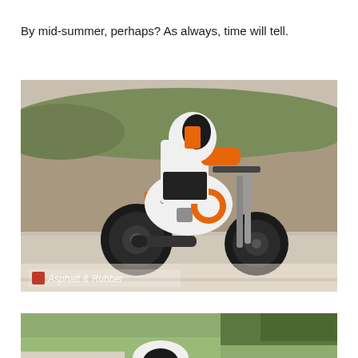By mid-summer, perhaps? As always, time will tell.
[Figure (photo): A motorcycle rider wearing white and orange racing leathers and helmet, riding a KTM motorcycle with orange frame and camouflage bodywork on a road, viewed from behind-left. Background shows a hillside with dry vegetation. Watermark reads 'Asphalt & Rubber' with a red icon.]
[Figure (photo): Partial view of another motorcycle photo, cropped at bottom of page showing green grass and trees in background with a helmet visible.]